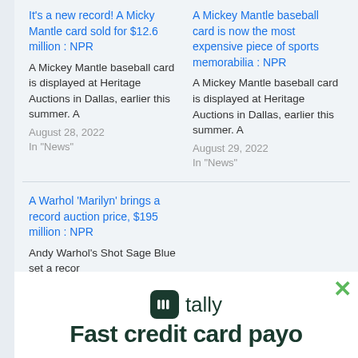It's a new record! A Micky Mantle card sold for $12.6 million : NPR
A Mickey Mantle baseball card is displayed at Heritage Auctions in Dallas, earlier this summer. A
August 28, 2022
In "News"
A Mickey Mantle baseball card is now the most expensive piece of sports memorabilia : NPR
A Mickey Mantle baseball card is displayed at Heritage Auctions in Dallas, earlier this summer. A
August 29, 2022
In "News"
A Warhol 'Marilyn' brings a record auction price, $195 million : NPR
Andy Warhol's Shot Sage Blue set a recor highest-pri American w
[Figure (logo): Tally app advertisement with dark green logo icon and 'tally' text, with 'Fast credit card payo' headline text and green X close button]